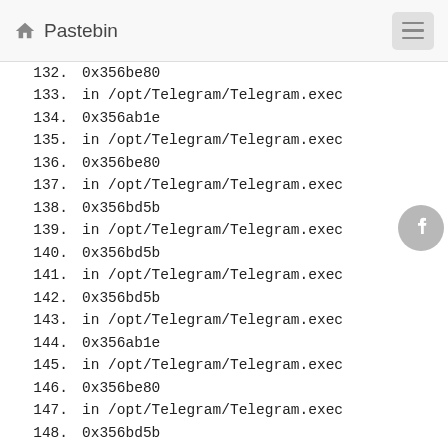Pastebin
132.        0x356be80
133.           in /opt/Telegram/Telegram.exec
134.        0x356ab1e
135.           in /opt/Telegram/Telegram.exec
136.        0x356be80
137.           in /opt/Telegram/Telegram.exec
138.        0x356bd5b
139.           in /opt/Telegram/Telegram.exec
140.        0x356bd5b
141.           in /opt/Telegram/Telegram.exec
142.        0x356bd5b
143.           in /opt/Telegram/Telegram.exec
144.        0x356ab1e
145.           in /opt/Telegram/Telegram.exec
146.        0x356be80
147.           in /opt/Telegram/Telegram.exec
148.        0x356bd5b
149.           in /opt/Telegram/Telegram.exec
150.        0x356ab1e
151.           in /opt/Telegram/Telegram.exec
152.        0x356be80
153.           in /opt/Telegram/Telegram.exec
154.        0x356ab1e
155.           in /opt/Telegram/Telegram.exec